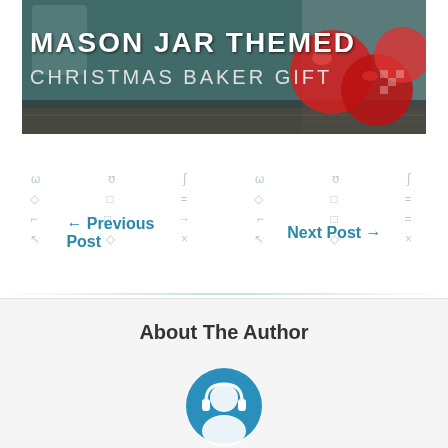[Figure (photo): Mason Jar Themed Christmas Baker Gift promotional image with teal background, red ornaments, and white stylized text reading 'MASON JAR THEMED CHRISTMAS BAKER GIFT']
← Previous Post
Next Post →
About The Author
[Figure (illustration): Circular author avatar icon with blue background showing a person/headphone silhouette]